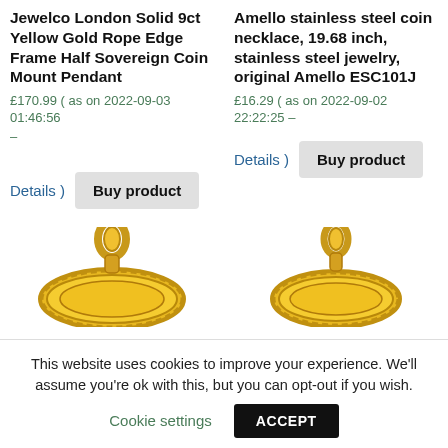Jewelco London Solid 9ct Yellow Gold Rope Edge Frame Half Sovereign Coin Mount Pendant
£170.99 ( as on 2022-09-03 01:46:56 –
Details )  Buy product
Amello stainless steel coin necklace, 19.68 inch, stainless steel jewelry, original Amello ESC101J
£16.29 ( as on 2022-09-02 22:22:25 –
Details )  Buy product
[Figure (photo): Gold coin pendant jewelry, left product]
[Figure (photo): Gold coin pendant jewelry, right product]
This website uses cookies to improve your experience. We'll assume you're ok with this, but you can opt-out if you wish.
Cookie settings   ACCEPT